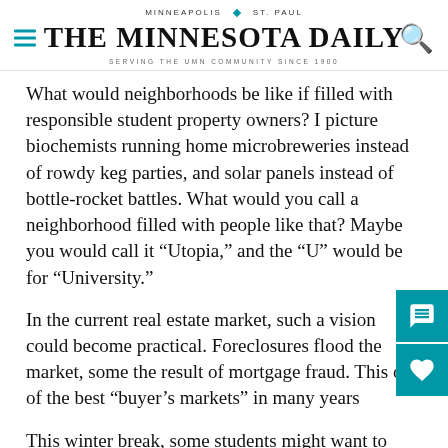MINNEAPOLIS | ST. PAUL — THE MINNESOTA DAILY — SERVING THE UMN COMMUNITY SINCE 1900
What would neighborhoods be like if filled with responsible student property owners? I picture biochemists running home microbreweries instead of rowdy keg parties, and solar panels instead of bottle-rocket battles. What would you call a neighborhood filled with people like that? Maybe you would call it “Utopia,” and the “U” would be for “University.”
In the current real estate market, such a vision could become practical. Foreclosures flood the market, some the result of mortgage fraud. This one of the best “buyer’s markets” in many years
This winter break, some students might want to